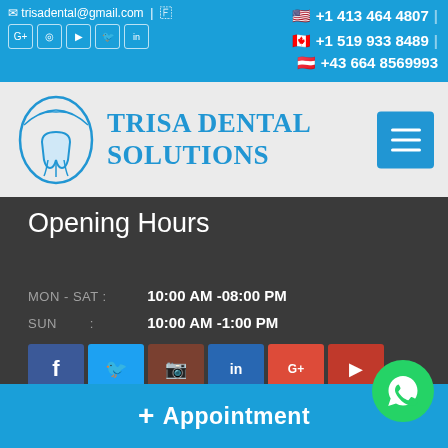trisadental@gmail.com | +1 413 464 4807 | +1 519 933 8489 | +43 664 8569993
[Figure (logo): Trisa Dental Solutions logo with tooth and globe icon]
Opening Hours
MON - SAT : 10:00 AM -08:00 PM
SUN : 10:00 AM -1:00 PM
[Figure (infographic): Social media icons: Facebook, Twitter, Instagram, LinkedIn, Google+, YouTube]
Take An Appointment
+ Appointment